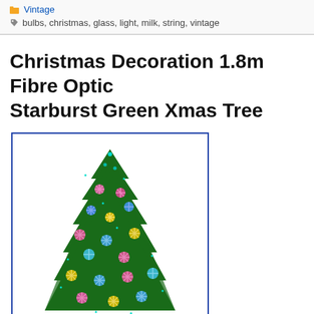Vintage
bulbs, christmas, glass, light, milk, string, vintage
Christmas Decoration 1.8m Fibre Optic Starburst Green Xmas Tree
[Figure (photo): A green fibre optic Christmas tree with multicoloured starburst lights (pink, blue, green, yellow) on a metal stand, with an eBay watermark at the bottom, displayed with a blue border frame.]